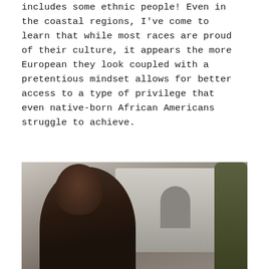…born of diversity sadly, this also includes some ethnic people! Even in the coastal regions, I've come to learn that while most races are proud of their culture, it appears the more European they look coupled with a pretentious mindset allows for better access to a type of privilege that even native-born African Americans struggle to achieve.
[Figure (photo): A young Black woman with braided hair stands outdoors in front of a stone building with an arched doorway, with a tree visible on the right side of the frame.]